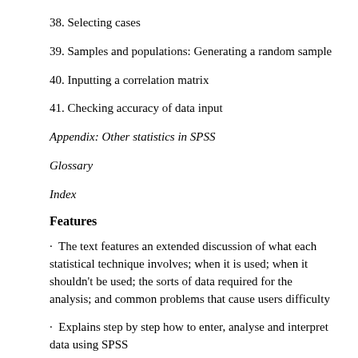38. Selecting cases
39. Samples and populations: Generating a random sample
40. Inputting a correlation matrix
41. Checking accuracy of data input
Appendix: Other statistics in SPSS
Glossary
Index
Features
· The text features an extended discussion of what each statistical technique involves; when it is used; when it shouldn't be used; the sorts of data required for the analysis; and common problems that cause users difficulty
· Explains step by step how to enter, analyse and interpret data using SPSS